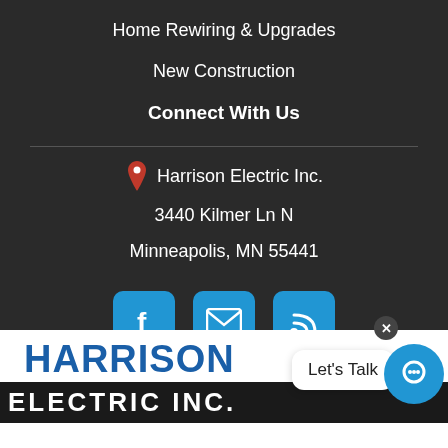Home Rewiring & Upgrades
New Construction
Connect With Us
Harrison Electric Inc.
3440 Kilmer Ln N
Minneapolis, MN 55441
[Figure (other): Social media icons: Facebook, Email/envelope, RSS feed — blue rounded square buttons]
[Figure (logo): Harrison Electric Inc. logo with blue HARRISON text and white ELECTRIC INC. text on dark bar]
Let's Talk